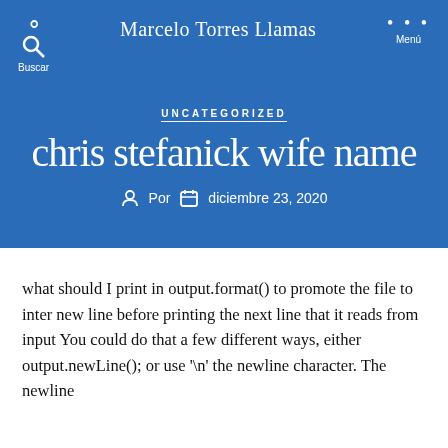Marcelo Torres Llamas
UNCATEGORIZED
chris stefanick wife name
Por  diciembre 23, 2020
what should I print in output.format() to promote the file to inter new line before printing the next line that it reads from input You could do that a few different ways, either output.newLine(); or use '\n' the newline character. The newline